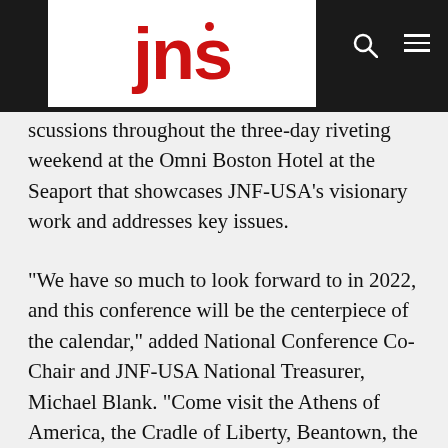[Figure (logo): JNS logo — red lowercase letters 'jns' with a red dot above the 'j', on white background, in a black header bar]
scussions throughout the three-day riveting weekend at the Omni Boston Hotel at the Seaport that showcases JNF-USA's visionary work and addresses key issues.
“We have so much to look forward to in 2022, and this conference will be the centerpiece of the calendar,” added National Conference Co-Chair and JNF-USA National Treasurer, Michael Blank. “Come visit the Athens of America, the Cradle of Liberty, Beantown, the City of Champions. We promise you an exciting, informative, special time as we highlight the